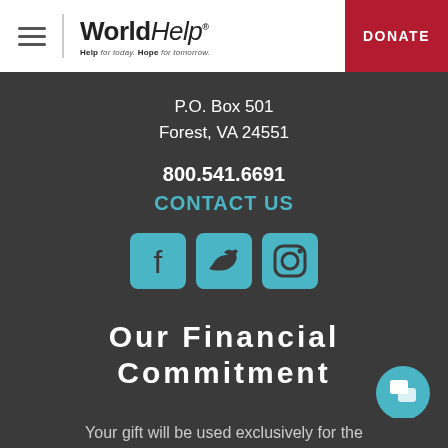WorldHelp - Help for today. Hope for tomorrow. DONATE
P.O. Box 501
Forest, VA 24551
800.541.6691
CONTACT US
[Figure (illustration): Social media icons: Facebook, Twitter, Instagram in teal/cyan color]
Our Financial Commitment
Your gift will be used exclusively for the